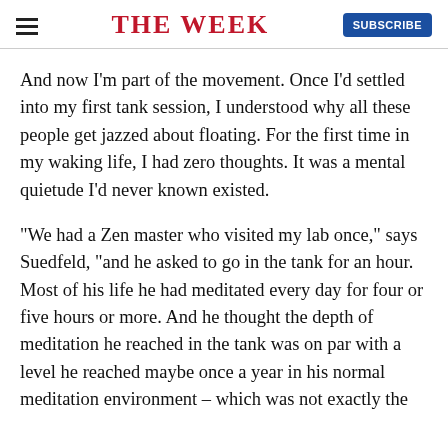THE WEEK
And now I'm part of the movement. Once I'd settled into my first tank session, I understood why all these people get jazzed about floating. For the first time in my waking life, I had zero thoughts. It was a mental quietude I'd never known existed.
"We had a Zen master who visited my lab once," says Suedfeld, "and he asked to go in the tank for an hour. Most of his life he had meditated every day for four or five hours or more. And he thought the depth of meditation he reached in the tank was on par with a level he reached maybe once a year in his normal meditation environment – which was not exactly the